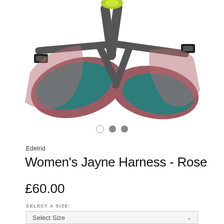[Figure (photo): Product photo of Edelrid Women's Jayne Harness in Rose color — shows climbing harness with dusty rose/mauve outer webbing and teal mesh padding on leg loops, with lime green buckle hardware and gray straps, photographed on white background]
Edelrid
Women's Jayne Harness - Rose
£60.00
SELECT A SIZE:
Select Size